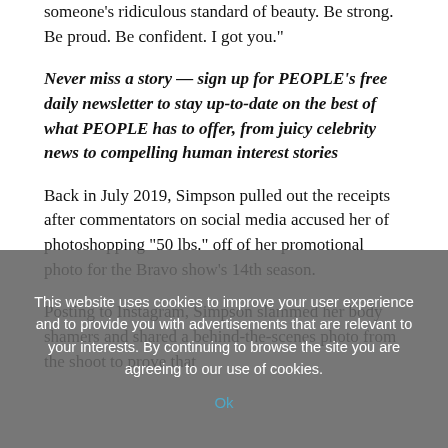someone's ridiculous standard of beauty. Be strong. Be proud. Be confident. I got you."
Never miss a story — sign up for PEOPLE's free daily newsletter to stay up-to-date on the best of what PEOPLE has to offer, from juicy celebrity news to compelling human interest stories
Back in July 2019, Simpson pulled out the receipts after commentators on social media accused her of photoshopping "50 lbs." off of her promotional photo for the Bravo show's 14th season.
Posting to Instagram, Simpson slammed her body shamers and shared a behind-the-scenes photo from the shoot to prove that
This website uses cookies to improve your user experience and to provide you with advertisements that are relevant to your interests. By continuing to browse the site you are agreeing to our use of cookies.
Ok